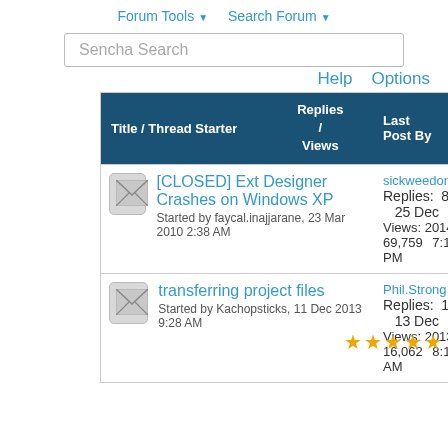Forum Tools ▼   Search Forum ▼
Sencha Search
Help   Options
| Title / Thread Starter | Replies / Views | Last Post By |
| --- | --- | --- |
| [CLOSED] Ext Designer Crashes on Windows XP
Started by faycal.inajjarane, 23 Mar 2010 2:38 AM | 8
69,759 | sickweedon
25 Dec
2014,
7:19 PM |
| transferring project files
Started by Kachopsticks, 11 Dec 2013 9:28 AM | 1
16,062 | Phil.Strong
13 Dec
2013,
8:14 AM |